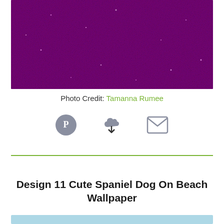[Figure (photo): Close-up photo of purple/violet glitter or sparkle texture filling the frame]
Photo Credit: Tamanna Rumee
[Figure (infographic): Three social/action icons in a row: Pinterest circle icon, cloud download icon, envelope/email icon]
Design 11 Cute Spaniel Dog On Beach Wallpaper
[Figure (photo): Top portion of next image (light blue/sky background) partially visible at bottom of page]